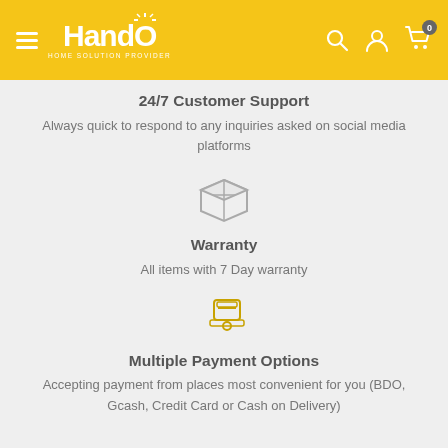HandO — navigation header with logo, search, account, cart
24/7 Customer Support
Always quick to respond to any inquiries asked on social media platforms
[Figure (illustration): Box/package icon in grey outline]
Warranty
All items with 7 Day warranty
[Figure (illustration): Payment card/terminal icon in gold/yellow]
Multiple Payment Options
Accepting payment from places most convenient for you (BDO, Gcash, Credit Card or Cash on Delivery)